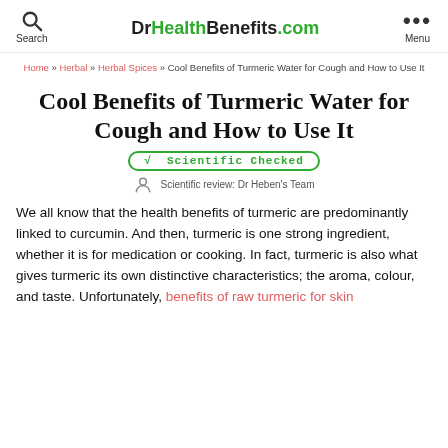DrHealthBenefits.com
Home » Herbal » Herbal Spices » Cool Benefits of Turmeric Water for Cough and How to Use It
Cool Benefits of Turmeric Water for Cough and How to Use It
√ Scientific Checked
Scientific review: Dr Heben's Team
We all know that the health benefits of turmeric are predominantly linked to curcumin. And then, turmeric is one strong ingredient, whether it is for medication or cooking. In fact, turmeric is also what gives turmeric its own distinctive characteristics; the aroma, colour, and taste. Unfortunately, benefits of raw turmeric for skin